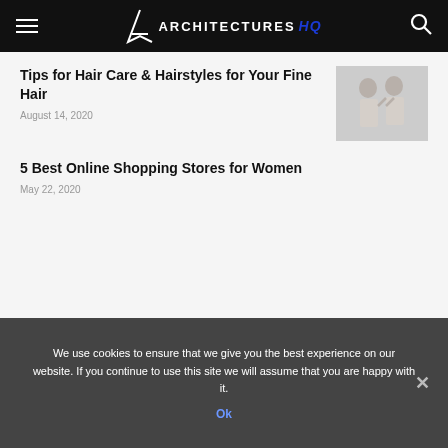ARCHITECTURES HQ
Tips for Hair Care & Hairstyles for Your Fine Hair
August 14, 2020
[Figure (photo): Grayscale photo of two people]
5 Best Online Shopping Stores for Women
May 22, 2020
We use cookies to ensure that we give you the best experience on our website. If you continue to use this site we will assume that you are happy with it.
Ok